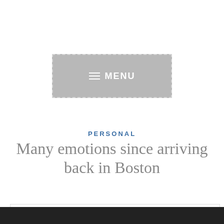[Figure (screenshot): Gray menu button with hamburger icon and text 'MENU' in white on gray background with dashed border]
PERSONAL
Many emotions since arriving back in Boston
Privacy & Cookies: This site uses cookies. By continuing to use this website, you agree to their use.
To find out more, including how to control cookies, see here: Cookie Policy
[Figure (screenshot): Close and accept button, gray rounded rectangle]
[Figure (photo): Partial photo visible at the bottom of the page]